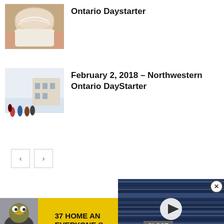[Figure (photo): Thumbnail photo of a food item with cream/whipped topping in a white cup, hands visible]
Ontario Daystarter
[Figure (photo): Thumbnail photo of people in winter clothes on a snowy outdoor setting with buildings]
February 2, 2018 – Northwestern Ontario DayStarter
[Figure (screenshot): Navigation arrows (left and right) for carousel pagination]
[Figure (screenshot): Video player overlay showing a water/wave scene with a play button, with X close button, overlaid on page]
[Figure (screenshot): Ad banner: food image with yellow background text '37 HOME AN... EVERYONE S...']
CLOSE
[Figure (screenshot): Green advertisement banner: '37 BEAUTY PRODUCTS WITH SUCH GOOD REVIEWS YOU MIGHT WANT TO TRY THEM YOURSELF' with woman photo and 22 WORDS badge, X close button]